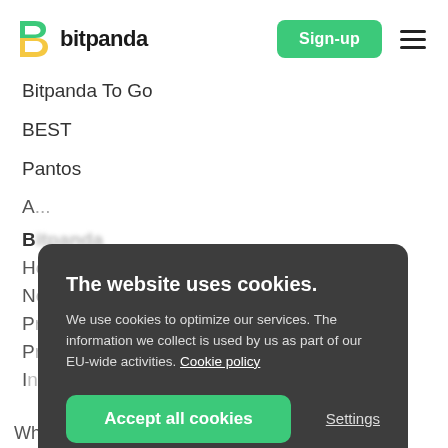[Figure (logo): Bitpanda logo with stylized B icon and 'bitpanda' wordmark, and Sign-up button and hamburger menu on the right]
Bitpanda To Go
BEST
Pantos
A...
B...
H...
N...
P...
P...
I...
The website uses cookies.
We use cookies to optimize our services. The information we collect is used by us as part of our EU-wide activities. Cookie policy
Accept all cookies
Settings
Whitepaper...